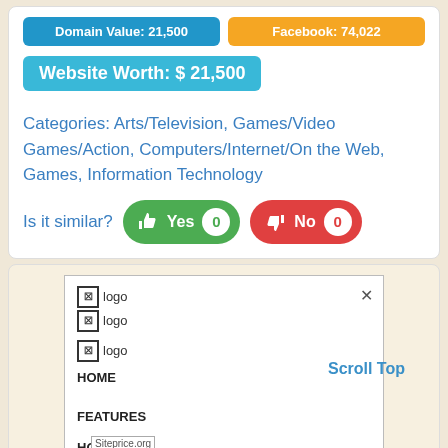Domain Value: [amount] | Facebook: [count]
Website Worth: $ 21,500
Categories: Arts/Television, Games/Video Games/Action, Computers/Internet/On the Web, Games, Information Technology
Is it similar? Yes 0 | No 0
[Figure (screenshot): Screenshot of a website showing logo icons, navigation items HOME, FEATURES, HOME, and a Scroll Top link. A siteprice.org watermark label is visible at the bottom left.]